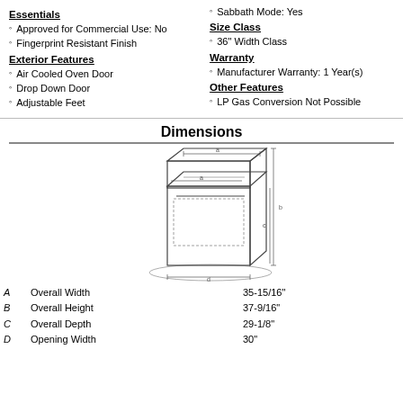Essentials
Approved for Commercial Use: No
Fingerprint Resistant Finish
Exterior Features
Air Cooled Oven Door
Drop Down Door
Adjustable Feet
Sabbath Mode: Yes
Size Class
36" Width Class
Warranty
Manufacturer Warranty: 1 Year(s)
Other Features
LP Gas Conversion Not Possible
Dimensions
[Figure (engineering-diagram): Line drawing of a freestanding range appliance showing dimension measurement lines labeled A (width), B (height), C (depth), D (opening width) and additional reference lines.]
|  | Dimension |  | Value |
| --- | --- | --- | --- |
| A | Overall Width |  | 35-15/16" |
| B | Overall Height |  | 37-9/16" |
| C | Overall Depth |  | 29-1/8" |
| D | Opening Width |  | 30" |